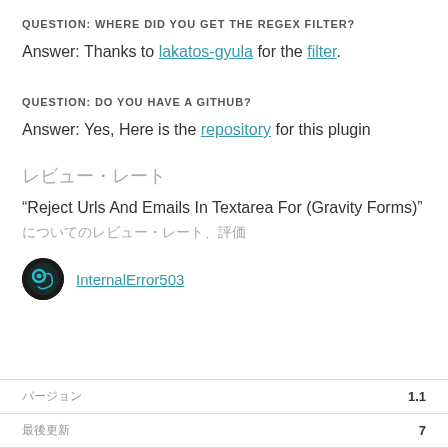QUESTION: WHERE DID YOU GET THE REGEX FILTER?
Answer: Thanks to lakatos-gyula for the filter.
QUESTION: DO YOU HAVE A GITHUB?
Answer: Yes, Here is the repository for this plugin
レビュー
“Reject Urls And Emails In Textarea For (Gravity Forms)” についてのレビュー
InternalError503
|  |  |
| --- | --- |
| バージョン | 1.1 |
| 末尾更新 | 7 |